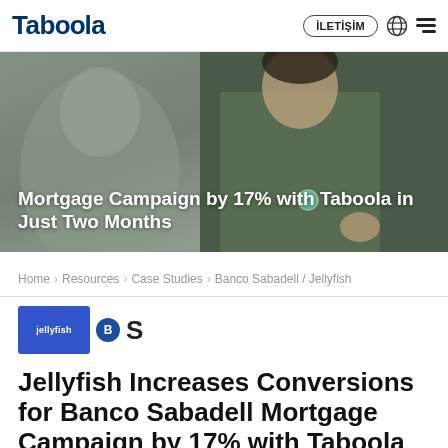Taboola | İLETİŞİM
[Figure (photo): Hero image showing a person in a green shirt with a necklace, partially blurred. Overlay text reads: Mortgage Campaign by 17% with Taboola in Just Two Months]
Mortgage Campaign by 17% with Taboola in Just Two Months
Home › Resources › Case Studies › Banco Sabadell / Jellyfish
[Figure (logo): Jellyfish blue square logo, Banco Sabadell B circle logo, and large S letter logo]
Jellyfish Increases Conversions for Banco Sabadell Mortgage Campaign by 17% with Taboola in Just Two